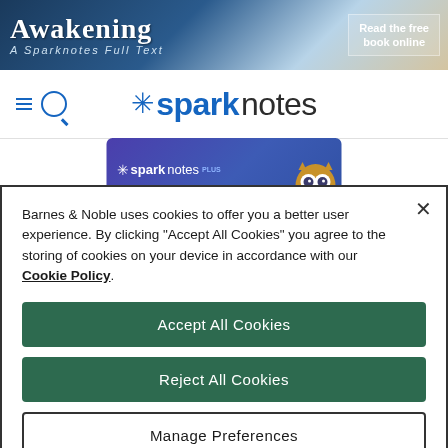[Figure (other): SparkNotes 'The Awakening' banner with book title, 'A Sparknotes Full Text' subtitle, beach background image, and 'Read the free book online' call-to-action button]
[Figure (logo): SparkNotes logo with hamburger menu and search icon on left, asterisk star and 'sparknotes' wordmark in blue and dark gray]
[Figure (other): SparkNotes Plus advertisement banner showing the SparkNotes Plus logo with a gold diamond star and an owl mascot on purple/blue gradient background]
Barnes & Noble uses cookies to offer you a better user experience. By clicking "Accept All Cookies" you agree to the storing of cookies on your device in accordance with our Cookie Policy.
Accept All Cookies
Reject All Cookies
Manage Preferences